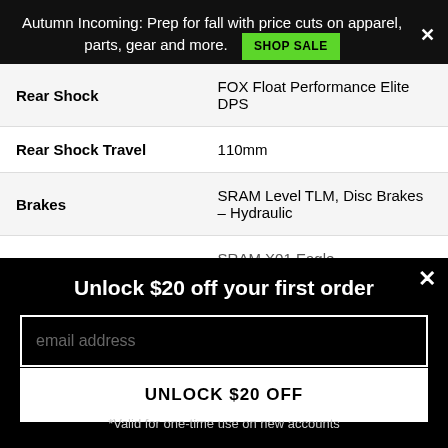Autumn Incoming: Prep for fall with price cuts on apparel, parts, gear and more. SHOP SALE
| Spec | Value |
| --- | --- |
| Rear Shock | FOX Float Performance Elite DPS |
| Rear Shock Travel | 110mm |
| Brakes | SRAM Level TLM, Disc Brakes - Hydraulic |
|  | SRAM X01 Eagle |
Unlock $20 off your first order
email address
UNLOCK $20 OFF
*Valid for one-time use on new accounts